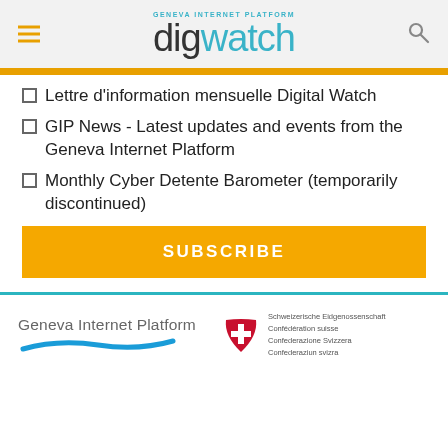digwatch - Geneva Internet Platform
Lettre d'information mensuelle Digital Watch
GIP News - Latest updates and events from the Geneva Internet Platform
Monthly Cyber Detente Barometer (temporarily discontinued)
SUBSCRIBE
[Figure (logo): Geneva Internet Platform logo with blue wave underline]
[Figure (logo): Swiss Confederation logo with red cross shield and multilingual text: Schweizerische Eidgenossenschaft, Confédération suisse, Confederazione Svizzera, Confederaziun svizra]